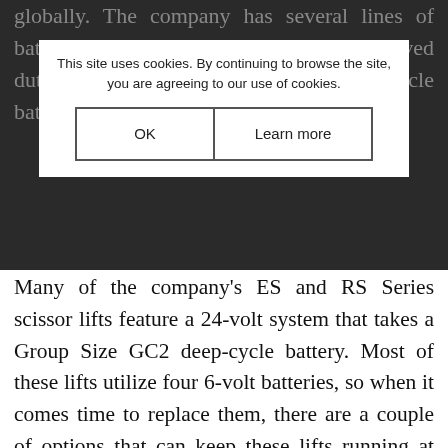globally. The company has several lines of battery-powered vehicles that have improved duty-cycles due to their use of deep-cycle batteries.
This site uses cookies. By continuing to browse the site, you are agreeing to our use of cookies.
Many of the company's ES and RS Series scissor lifts feature a 24-volt system that takes a Group Size GC2 deep-cycle battery. Most of these lifts utilize four 6-volt batteries, so when it comes time to replace them, there are a couple of options that can keep these lifts running at optimum efficiency while also lowering annual operating costs. U.S. Battery's US 2000XC2 offers 220 amp-hours at a 20-hour rate, offering an excellent value for JLG ES and RS Series lifts to